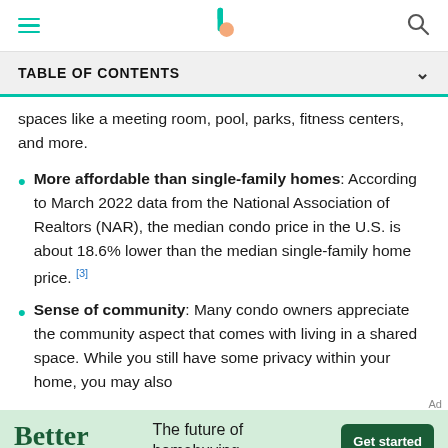Navigation bar with hamburger menu, Better logo, and search icon
TABLE OF CONTENTS
spaces like a meeting room, pool, parks, fitness centers, and more.
More affordable than single-family homes: According to March 2022 data from the National Association of Realtors (NAR), the median condo price in the U.S. is about 18.6% lower than the median single-family home price. [3]
Sense of community: Many condo owners appreciate the community aspect that comes with living in a shared space. While you still have some privacy within your home, you may also
[Figure (infographic): Better Mortgage advertisement banner: 'Better - The future of homebuying' with a Get started button on green background]